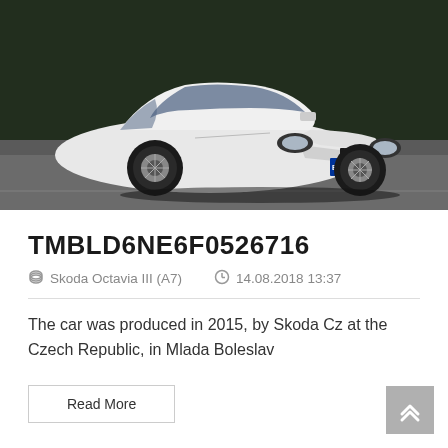[Figure (photo): White Skoda Octavia III (A7) sedan driving on a road, front three-quarter view, license plate 2SL 5711, dark background with trees]
TMBLD6NE6F0526716
Skoda Octavia III (A7)   14.08.2018 13:37
The car was produced in 2015, by Skoda Cz at the Czech Republic, in Mlada Boleslav
Read More